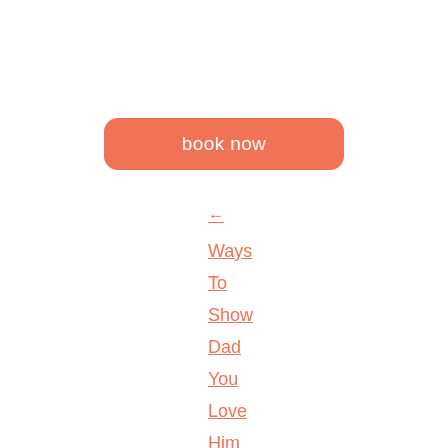[Figure (other): Orange rounded rectangle button with white text 'book now']
← Ways To Show Dad You Love Him